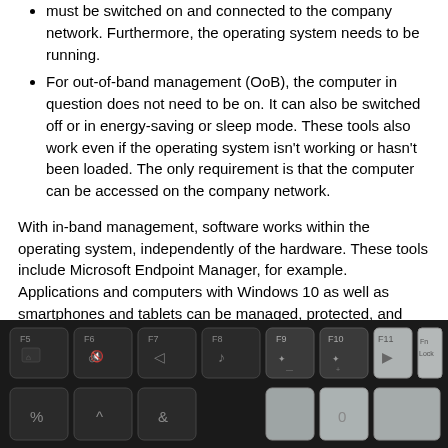must be switched on and connected to the company network. Furthermore, the operating system needs to be running.
For out-of-band management (OoB), the computer in question does not need to be on. It can also be switched off or in energy-saving or sleep mode. These tools also work even if the operating system isn't working or hasn't been loaded. The only requirement is that the computer can be accessed on the company network.
With in-band management, software works within the operating system, independently of the hardware. These tools include Microsoft Endpoint Manager, for example. Applications and computers with Windows 10 as well as smartphones and tablets can be managed, protected, and deployed with this cloud-based package. A solution like this covers most standard everyday tasks. It allows companies to effectively maintain devices on the network, significantly reducing costs and time.
[Figure (photo): Close-up photograph of a laptop keyboard showing function keys F5 through F11, Fn Lock key, and other keys. Left side shows dark/black keys, right side shows lighter/transparent keys.]